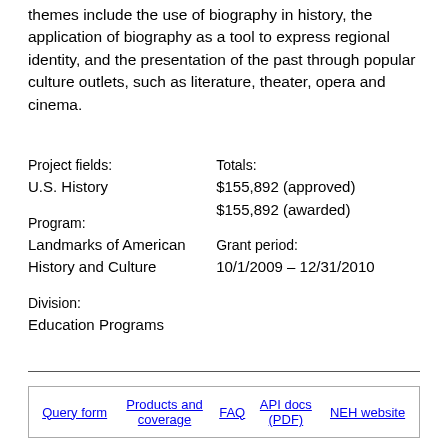themes include the use of biography in history, the application of biography as a tool to express regional identity, and the presentation of the past through popular culture outlets, such as literature, theater, opera and cinema.
Project fields:
U.S. History

Program:
Landmarks of American History and Culture

Division:
Education Programs
Totals:
$155,892 (approved)
$155,892 (awarded)

Grant period:
10/1/2009 – 12/31/2010
Query form | Products and coverage | FAQ | API docs (PDF) | NEH website